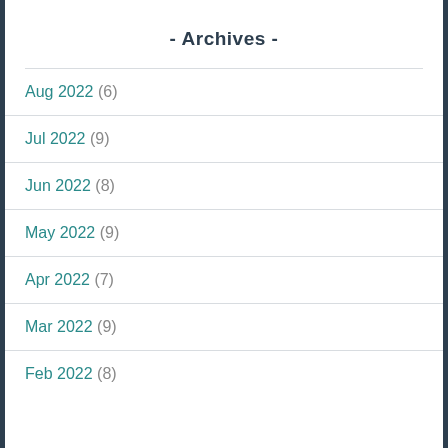- Archives -
Aug 2022 (6)
Jul 2022 (9)
Jun 2022 (8)
May 2022 (9)
Apr 2022 (7)
Mar 2022 (9)
Feb 2022 (8)